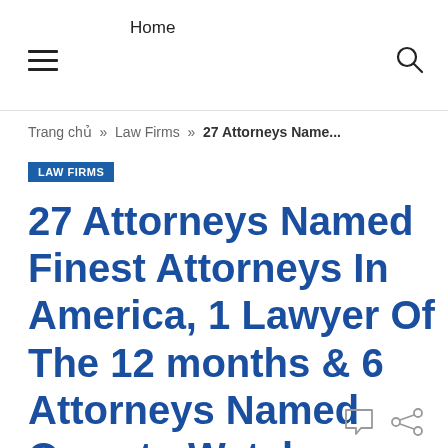Home
Trang chủ » Law Firms » 27 Attorneys Name...
LAW FIRMS
27 Attorneys Named Finest Attorneys In America, 1 Lawyer Of The 12 months & 6 Attorneys Named Ones to Watch –